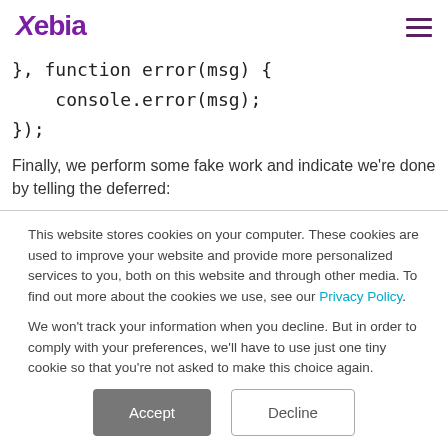Xebia
}, function error(msg) {
    console.error(msg);
});
Finally, we perform some fake work and indicate we're done by telling the deferred:
This website stores cookies on your computer. These cookies are used to improve your website and provide more personalized services to you, both on this website and through other media. To find out more about the cookies we use, see our Privacy Policy.

We won't track your information when you decline. But in order to comply with your preferences, we'll have to use just one tiny cookie so that you're not asked to make this choice again.